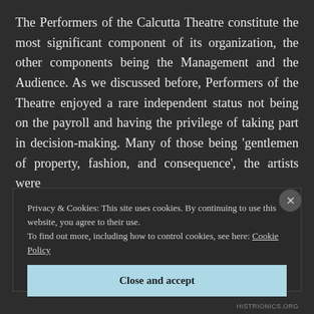The Performers of the Calcutta Theatre constitute the most significant component of its organization, the other components being the Management and the Audience. As we discussed before, Performers of the Theatre enjoyed a rare independent status not being on the payroll and having the privilege of taking part in decision-making. Many of those being ‘gentlemen of property, fashion, and consequence’, the artists were
Privacy & Cookies: This site uses cookies. By continuing to use this website, you agree to their use.
To find out more, including how to control cookies, see here: Cookie Policy
Close and accept
HISTRIONICS.ORG